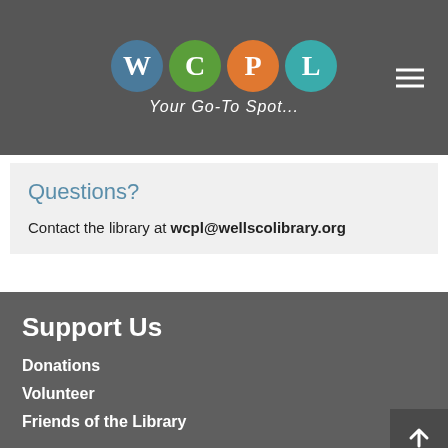WCPL Your Go-To Spot...
Questions?
Contact the library at wcpl@wellscolibrary.org
Support Us
Donations
Volunteer
Friends of the Library